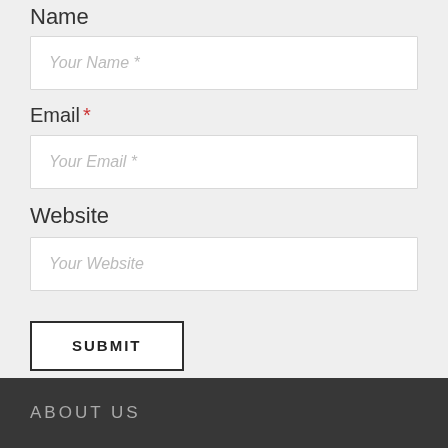Name
Your Name *
Email *
Your Email *
Website
Your Website
SUBMIT
ABOUT US